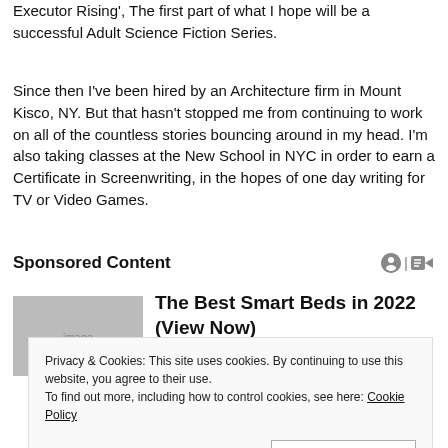Executor Rising', The first part of what I hope will be a successful Adult Science Fiction Series.
Since then I've been hired by an Architecture firm in Mount Kisco, NY. But that hasn't stopped me from continuing to work on all of the countless stories bouncing around in my head. I'm also taking classes at the New School in NYC in order to earn a Certificate in Screenwriting, in the hopes of one day writing for TV or Video Games.
Sponsored Content
The Best Smart Beds in 2022 (View Now)
Privacy & Cookies: This site uses cookies. By continuing to use this website, you agree to their use.
To find out more, including how to control cookies, see here: Cookie Policy
Close and accept